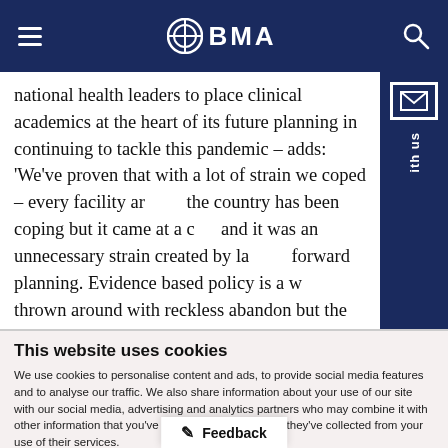BMA (British Medical Association) website header with navigation
national health leaders to place clinical academics at the heart of its future planning in continuing to tackle this pandemic – adds: 'We've proven that with a lot of strain we coped – every facility around the country has been coping but it came at a cost and it was an unnecessary strain created by lack of forward planning. Evidence based policy is a word thrown around with reckless abandon but the...
This website uses cookies
We use cookies to personalise content and ads, to provide social media features and to analyse our traffic. We also share information about your use of our site with our social media, advertising and analytics partners who may combine it with other information that you've provided to them or that they've collected from your use of their services.